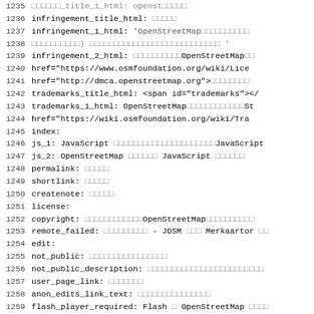Code listing lines 1235-1267 showing YAML/configuration file content with line numbers, including keys: infringement_title_html, infringement_1_html, infringement_2_html, trademarks_title_html, trademarks_1_html, index, js_1, js_2, permalink, shortlink, createnote, license, copyright, remote_failed, edit, not_public, not_public_description, user_page_link, anon_edits_link_text, flash_player_required, potlatch_unsaved_changes, potlatch2_not_configured, potlatch2_unsaved_changes, id_not_configured, no_iframe_support, export